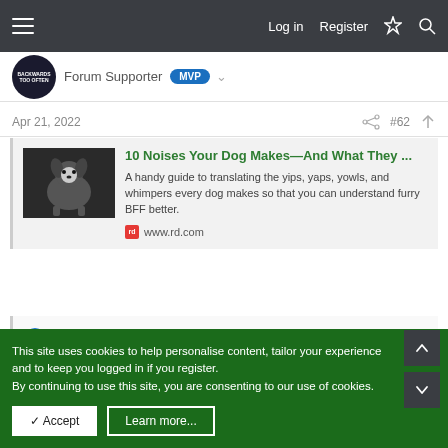Log in  Register
Forum Supporter  MVP
Apr 21, 2022  #62
[Figure (screenshot): Link card preview for '10 Noises Your Dog Makes—And What They ...' article from www.rd.com, showing a dog image and article description]
David Baxter
This site uses cookies to help personalise content, tailor your experience and to keep you logged in if you register.
By continuing to use this site, you are consenting to our use of cookies.